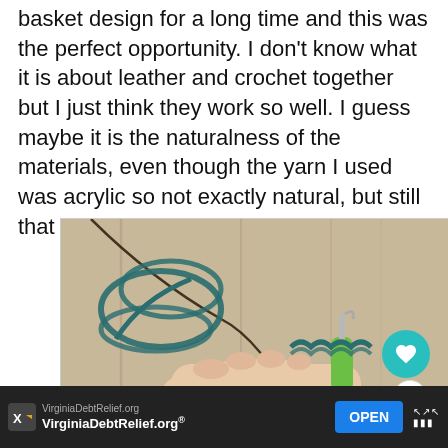basket design for a long time and this was the perfect opportunity. I don't know what it is about leather and crochet together but I just think they work so well. I guess maybe it is the naturalness of the materials, even though the yarn I used was acrylic so not exactly natural, but still that kind of vibe.
[Figure (photo): A hand holding a crochet hook with teal/dark green yarn on a wooden surface, showing a crocheting-in-progress scene. Social interaction buttons (heart with count 5, share) visible on right side.]
VirginiaDebtRelief.org VirginiaDebtRelief.org® OPEN